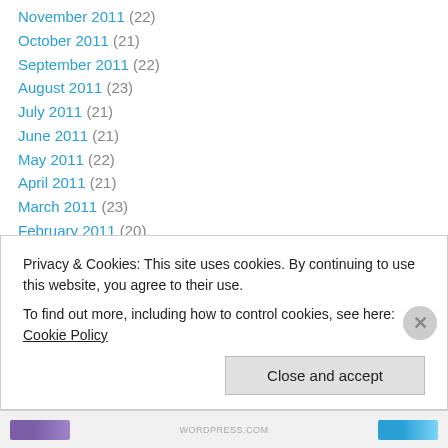November 2011 (22)
October 2011 (21)
September 2011 (22)
August 2011 (23)
July 2011 (21)
June 2011 (21)
May 2011 (22)
April 2011 (21)
March 2011 (23)
February 2011 (20)
January 2011 (20)
December 2010 (21)
November 2010 (21)
October 2010 (21)
Privacy & Cookies: This site uses cookies. By continuing to use this website, you agree to their use.
To find out more, including how to control cookies, see here: Cookie Policy
Close and accept